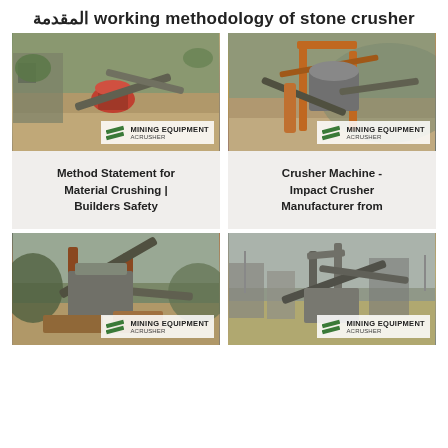المقدمة working methodology of stone crusher
[Figure (photo): Stone crusher / cone crusher machine at a quarry site with conveyor belts, overhead view. Watermark: MINING EQUIPMENT ACRUSHER]
[Figure (photo): Impact crusher machine at a quarry site with orange metal structure and conveyor belts. Watermark: MINING EQUIPMENT ACRUSHER]
Method Statement for Material Crushing | Builders Safety
Crusher Machine - Impact Crusher Manufacturer from
[Figure (photo): Large mobile crusher machine with conveyor belts at quarry, ground-level view. Watermark: MINING EQUIPMENT ACRUSHER]
[Figure (photo): Stone crusher plant with conveyor structure at quarry site. Watermark: MINING EQUIPMENT ACRUSHER]